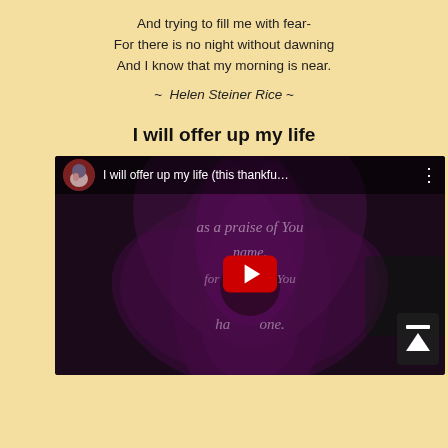And trying to fill me with fear-
For there is no night without dawning
And I know that my morning is near.
~  Helen Steiner Rice ~
I will offer up my life
[Figure (screenshot): YouTube video thumbnail showing 'I will offer up my life (this thankfu...' with a purple flower background and overlay text 'as a praise of Your name, for the things You have done.' with a YouTube play button in the center.]